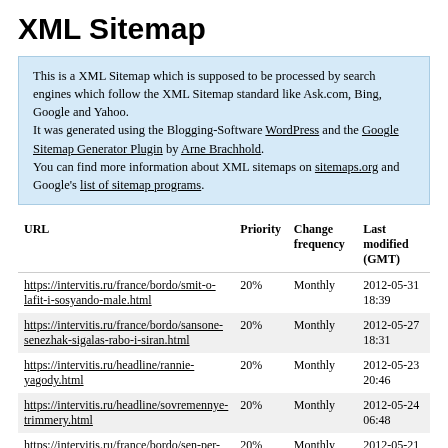XML Sitemap
This is a XML Sitemap which is supposed to be processed by search engines which follow the XML Sitemap standard like Ask.com, Bing, Google and Yahoo. It was generated using the Blogging-Software WordPress and the Google Sitemap Generator Plugin by Arne Brachhold. You can find more information about XML sitemaps on sitemaps.org and Google's list of sitemap programs.
| URL | Priority | Change frequency | Last modified (GMT) |
| --- | --- | --- | --- |
| https://intervitis.ru/france/bordo/smit-o-lafit-i-sosyando-male.html | 20% | Monthly | 2012-05-31 18:39 |
| https://intervitis.ru/france/bordo/sansone-senezhak-sigalas-rabo-i-siran.html | 20% | Monthly | 2012-05-27 18:31 |
| https://intervitis.ru/headline/rannie-yagody.html | 20% | Monthly | 2012-05-23 20:46 |
| https://intervitis.ru/headline/sovremennye-trimmery.html | 20% | Monthly | 2012-05-24 06:48 |
| https://intervitis.ru/france/bordo/sen-per-sent-kolomb-i-de-sal.html | 20% | Monthly | 2012-05-21 17:21 |